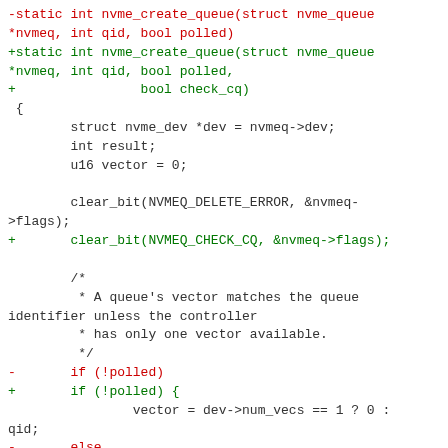[Figure (other): A code diff showing changes to nvme_create_queue function in C, with red lines for removed code and green lines for added code, black lines for context.]